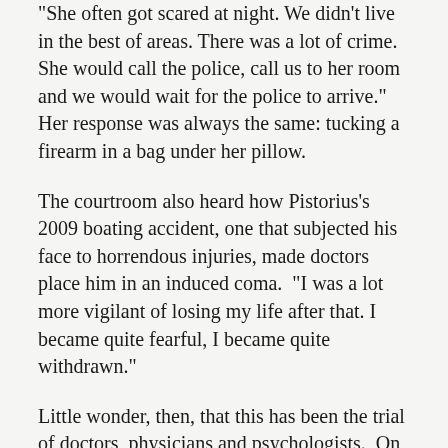“She often got scared at night. We didn’t live in the best of areas. There was a lot of crime. She would call the police, call us to her room and we would wait for the police to arrive.” Her response was always the same: tucking a firearm in a bag under her pillow.
The courtroom also heard how Pistorius’s 2009 boating accident, one that subjected his face to horrendous injuries, made doctors place him in an induced coma. “I was a lot more vigilant of losing my life after that. I became quite fearful, I became quite withdrawn.”
Little wonder, then, that this has been the trial of doctors, physicians and psychologists. On Day 34 of the trial, orthopaedic surgeon Gerald Versfeld was called. The portrait of Pistorius, less a super figure than one who was markedly fragile, was encouraged. It was he